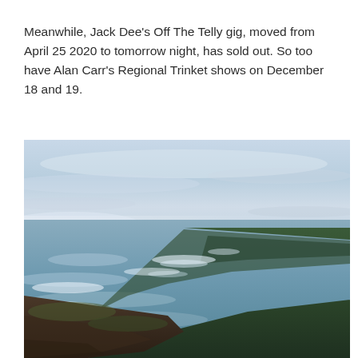Meanwhile, Jack Dee's Off The Telly gig, moved from April 25 2020 to tomorrow night, has sold out. So too have Alan Carr's Regional Trinket shows on December 18 and 19.
[Figure (illustration): A painted coastal landscape scene viewed from a cliff top. A rocky promontory or headland stretches into a calm sea. The water is blue-grey with white sparkle reflections. The foreground shows dark rocky cliff terrain with green-brown mossy vegetation. The sky is pale blue with soft hazy clouds.]